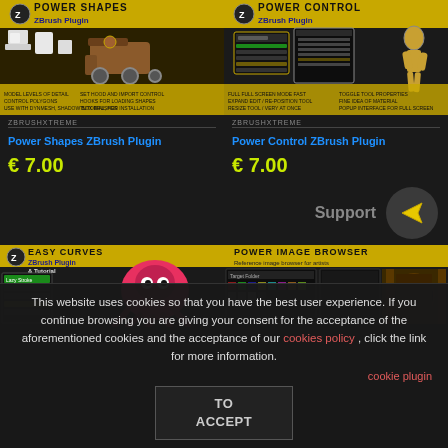[Figure (screenshot): Power Shapes ZBrush Plugin product image showing 3D shapes and a steam train model on dark background with yellow banner]
ZBRUSHXTREME
Power Shapes ZBrush Plugin
€ 7.00
[Figure (screenshot): Power Control ZBrush Plugin product image showing UI panels and a wooden mannequin on dark background]
ZBRUSHXTREME
Power Control ZBrush Plugin
€ 7.00
Support
[Figure (screenshot): Easy Curves ZBrush Plugin & Tutorial product image showing octopus model]
[Figure (screenshot): Power Image Browser product image showing reference image browser UI]
This website uses cookies so that you have the best user experience. If you continue browsing you are giving your consent for the acceptance of the aforementioned cookies and the acceptance of our cookies policy , click the link for more information.
cookie plugin
TO ACCEPT